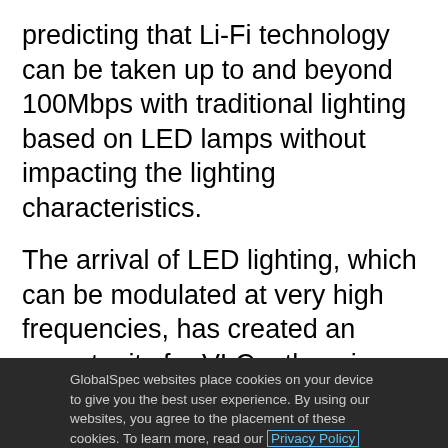predicting that Li-Fi technology can be taken up to and beyond 100Mbps with traditional lighting based on LED lamps without impacting the lighting characteristics.
The arrival of LED lighting, which can be modulated at very high frequencies, has created an opportunity for VLC, otherwise known as Li-Fi The European Union has established a schedule whereby halogen lamps will be phased out and replaced by LED lighting by Sept. 1, 2016.
GlobalSpec websites place cookies on your device to give you the best user experience. By using our websites, you agree to the placement of these cookies. To learn more, read our Privacy Policy